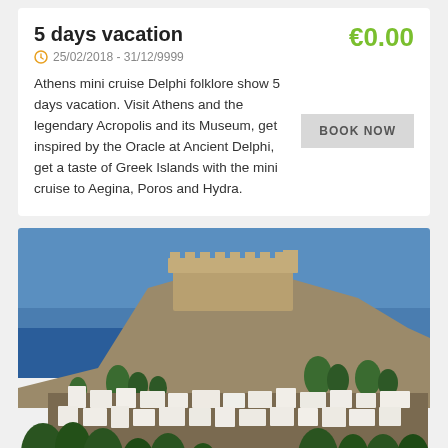5 days vacation
25/02/2018 - 31/12/9999
€0.00
Athens mini cruise Delphi folklore show 5 days vacation. Visit Athens and the legendary Acropolis and its Museum, get inspired by the Oracle at Ancient Delphi, get a taste of Greek Islands with the mini cruise to Aegina, Poros and Hydra.
[Figure (photo): Photograph of a Greek hillside town with whitewashed buildings clustered below a rocky hilltop fortress/acropolis, with a deep blue sea/sky in the background. Trees and rocky terrain visible throughout.]